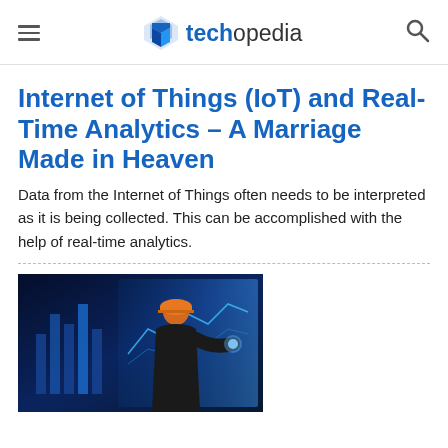techopedia
Internet of Things (IoT) and Real-Time Analytics - A Marriage Made in Heaven
Data from the Internet of Things often needs to be interpreted as it is being collected. This can be accomplished with the help of real-time analytics.
[Figure (photo): Person wearing an orange hard hat and dark clothing, viewed from behind, touching or interacting with a glowing blue digital display showing data charts and graphs]